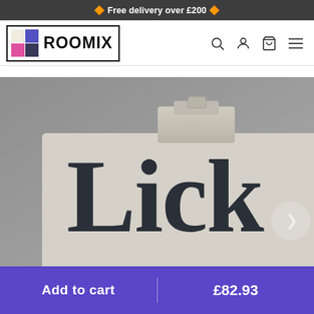🔶 Free delivery over £200 🔶
[Figure (logo): Roomix logo with colorful squares grid and bold ROOMIX text in a bordered box, with navigation icons (search, account, cart, menu) on the right]
[Figure (photo): A light grey rectangular paint can with a metal lid and handle, branded with 'Lick' in large bold serif font, photographed against a grey background]
Add to cart   £82.93